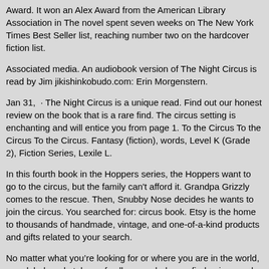Award. It won an Alex Award from the American Library Association in The novel spent seven weeks on The New York Times Best Seller list, reaching number two on the hardcover fiction list.
Associated media. An audiobook version of The Night Circus is read by Jim jikishinkobudo.com: Erin Morgenstern.
Jan 31,  · The Night Circus is a unique read. Find out our honest review on the book that is a rare find. The circus setting is enchanting and will entice you from page 1. To the Circus To the Circus To the Circus. Fantasy (fiction), words, Level K (Grade 2), Fiction Series, Lexile L.
In this fourth book in the Hoppers series, the Hoppers want to go to the circus, but the family can't afford it. Grandpa Grizzly comes to the rescue. Then, Snubby Nose decides he wants to join the circus. You searched for: circus book. Etsy is the home to thousands of handmade, vintage, and one-of-a-kind products and gifts related to your search.
No matter what you're looking for or where you are in the world, our global marketplace of sellers can help you find unique and affordable options. Let's get started. William Hill offers Nevada's most expansive wagering menu throughout the